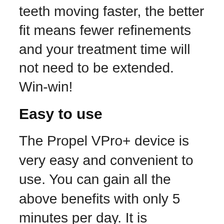teeth moving faster, the better fit means fewer refinements and your treatment time will not need to be extended. Win-win!
Easy to use
The Propel VPro+ device is very easy and convenient to use. You can gain all the above benefits with only 5 minutes per day. It is waterproof and rechargeable and comes with an app to track your usage and share with your amazing results with your doctor.
When you come in to your next appointment, don't forget to ask your assistant about this amazing technology offered only at JT Orthodontics in East and West El Paso. If you are considering orthodontic treatment, now is the time to call either one of our conveniently